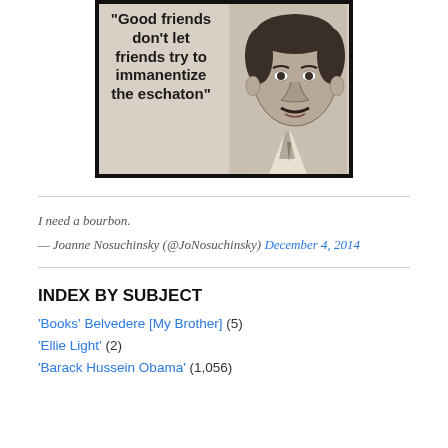[Figure (illustration): Meme image with bold text on left reading: "Good friends don't let friends try to immanentize the eschaton" and a pencil sketch portrait of a man on the right, framed with a thick black border.]
I need a bourbon.
— Joanne Nosuchinsky (@JoNosuchinsky) December 4, 2014
INDEX BY SUBJECT
'Books' Belvedere [My Brother] (5)
'Ellie Light' (2)
'Barack Hussein Obama' (1,056)